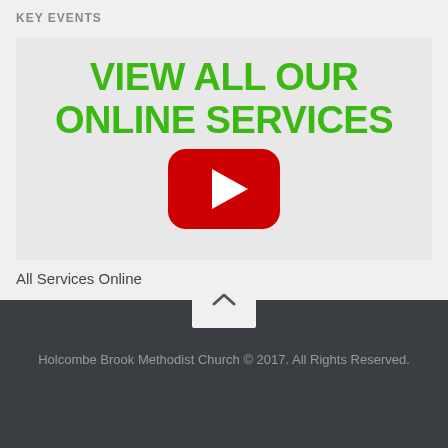KEY EVENTS
[Figure (screenshot): A banner with green bold text 'VIEW ALL OUR ONLINE SERVICES' and a red YouTube play button icon below on a light gray background]
All Services Online
Holcombe Brook Methodist Church © 2017. All Rights Reserved.